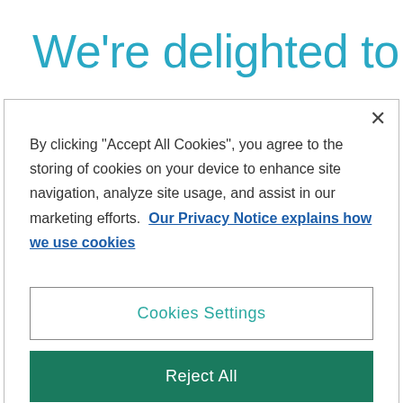We're delighted to
By clicking "Accept All Cookies", you agree to the storing of cookies on your device to enhance site navigation, analyze site usage, and assist in our marketing efforts. Our Privacy Notice explains how we use cookies
Cookies Settings
Reject All